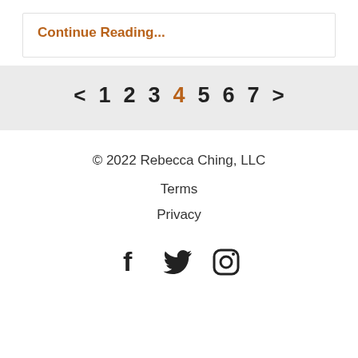Continue Reading...
< 1 2 3 4 5 6 7 >
© 2022 Rebecca Ching, LLC
Terms
Privacy
[Figure (other): Social media icons: Facebook, Twitter, Instagram]